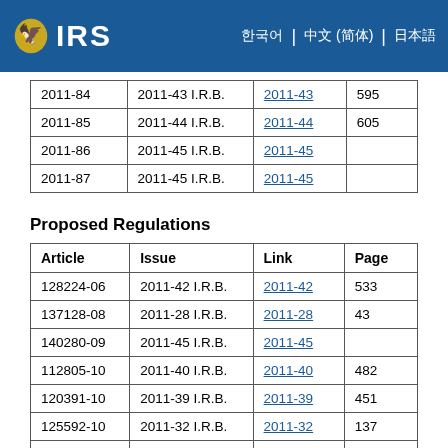IRS
| Article | Issue | Link | Page |
| --- | --- | --- | --- |
| 2011-84 | 2011-43 I.R.B. | 2011-43 | 595 |
| 2011-85 | 2011-44 I.R.B. | 2011-44 | 605 |
| 2011-86 | 2011-45 I.R.B. | 2011-45 |  |
| 2011-87 | 2011-45 I.R.B. | 2011-45 |  |
Proposed Regulations
| Article | Issue | Link | Page |
| --- | --- | --- | --- |
| 128224-06 | 2011-42 I.R.B. | 2011-42 | 533 |
| 137128-08 | 2011-28 I.R.B. | 2011-28 | 43 |
| 140280-09 | 2011-45 I.R.B. | 2011-45 |  |
| 112805-10 | 2011-40 I.R.B. | 2011-40 | 482 |
| 120391-10 | 2011-39 I.R.B. | 2011-39 | 451 |
| 125592-10 | 2011-32 I.R.B. | 2011-32 | 137 |
| 125949-10 | 2011-45 I.R.B. | 2011-45 |  |
| ... | 2011-?? I.R.B. | 2011-?? | ??? |